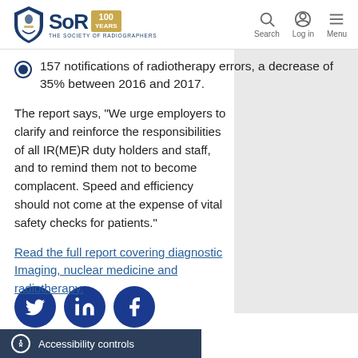SoR 100 Years - The Society of Radiographers | Search | Log in | Menu
157 notifications of radiotherapy errors, a decrease of 35% between 2016 and 2017.
The report says, “We urge employers to clarify and reinforce the responsibilities of all IR(ME)R duty holders and staff, and to remind them not to become complacent. Speed and efficiency should not come at the expense of vital safety checks for patients.”
Read the full report covering diagnostic Imaging, nuclear medicine and radiotherapy.
[Figure (logo): Social media icons: Twitter, LinkedIn, Facebook]
Accessibility controls